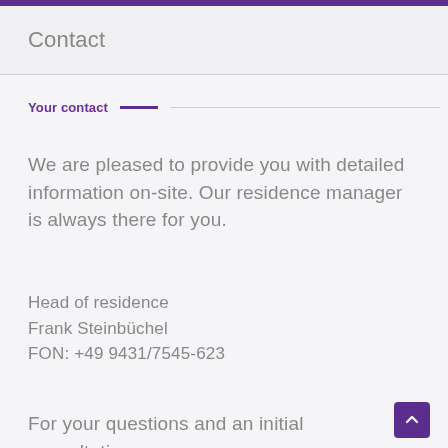Contact
Your contact
We are pleased to provide you with detailed information on-site. Our residence manager is always there for you.
Head of residence
Frank Steinbüchel
FON: +49 9431/7545-623
For your questions and an initial consultation, our